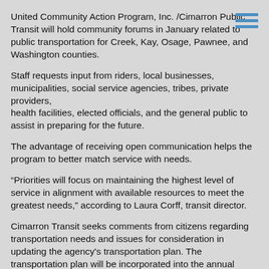United Community Action Program, Inc. /Cimarron Public Transit will hold community forums in January related to public transportation for Creek, Kay, Osage, Pawnee, and Washington counties.
Staff requests input from riders, local businesses, municipalities, social service agencies, tribes, private providers, health facilities, elected officials, and the general public to assist in preparing for the future.
The advantage of receiving open communication helps the program to better match service with needs.
“Priorities will focus on maintaining the highest level of service in alignment with available resources to meet the greatest needs,” according to Laura Corff, transit director.
Cimarron Transit seeks comments from citizens regarding transportation needs and issues for consideration in updating the agency's transportation plan. The transportation plan will be incorporated into the annual application for funding under Section 5311 formula grants for Rural Areas, which is due to the Transit Program Division of ODOT in March.
The meeting for Ponca City is scheduled for Jan. 28, 2020, at City Hall, 516 East Grand Avenue, in the Barnes Room, from 11 a.m. to noon.